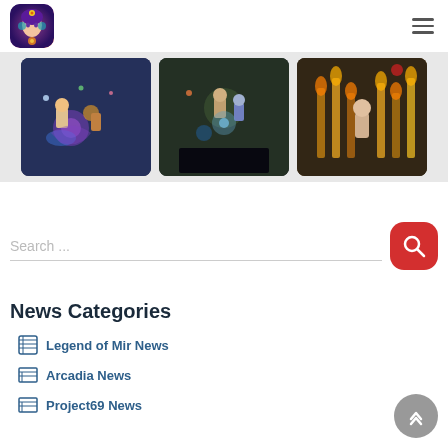[Figure (logo): Game app logo with fantasy female character]
[Figure (screenshot): Three game screenshot thumbnails showing fantasy/action game scenes]
Search ...
News Categories
Legend of Mir News
Arcadia News
Project69 News